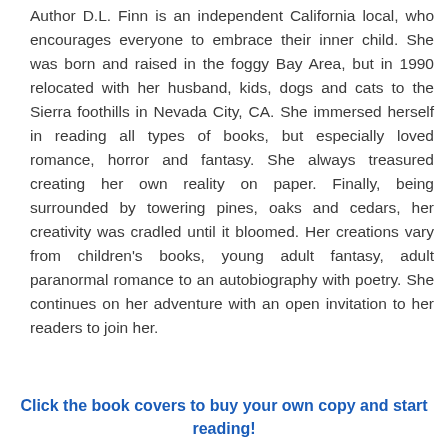Author D.L. Finn is an independent California local, who encourages everyone to embrace their inner child. She was born and raised in the foggy Bay Area, but in 1990 relocated with her husband, kids, dogs and cats to the Sierra foothills in Nevada City, CA. She immersed herself in reading all types of books, but especially loved romance, horror and fantasy. She always treasured creating her own reality on paper. Finally, being surrounded by towering pines, oaks and cedars, her creativity was cradled until it bloomed. Her creations vary from children's books, young adult fantasy, adult paranormal romance to an autobiography with poetry. She continues on her adventure with an open invitation to her readers to join her.
Click the book covers to buy your own copy and start reading!